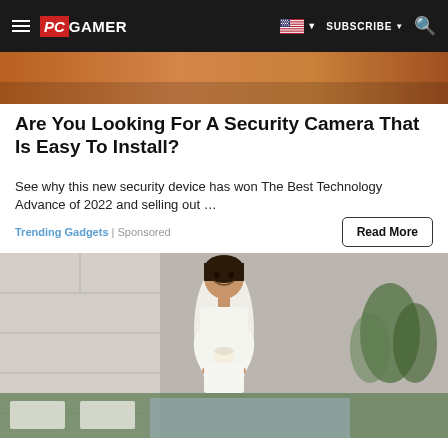PC GAMER | SUBSCRIBE | Search
[Figure (photo): Top partial image strip showing orange/warm toned photo cropped at top]
Are You Looking For A Security Camera That Is Easy To Install?
See why this new security device has won The Best Technology Advance of 2022 and selling out …
Trending Gadgets | Sponsored
[Figure (photo): Woman in white yoga outfit holding a candle, smiling, standing in an outdoor patio/yoga studio setting with greenery and stone walls]